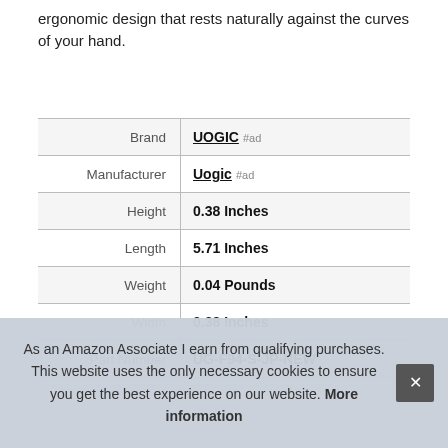ergonomic design that rests naturally against the curves of your hand.
|  |  |
| --- | --- |
| Brand | UOGIC #ad |
| Manufacturer | Uogic #ad |
| Height | 0.38 Inches |
| Length | 5.71 Inches |
| Weight | 0.04 Pounds |
| Width | 0.38 Inches |
| Part Number | UG-F94-S-JP-NEW |
As an Amazon Associate I earn from qualifying purchases. This website uses the only necessary cookies to ensure you get the best experience on our website. More information